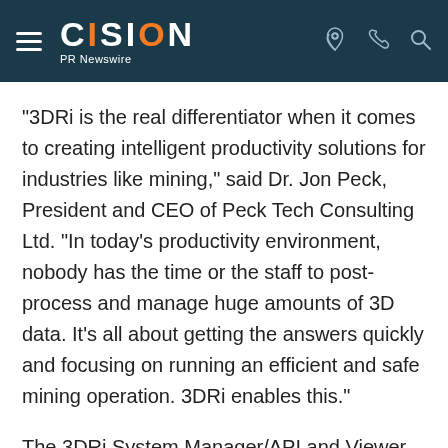CISION PR Newswire
"3DRi is the real differentiator when it comes to creating intelligent productivity solutions for industries like mining," said Dr. Jon Peck, President and CEO of Peck Tech Consulting Ltd. "In today's productivity environment, nobody has the time or the staff to post-process and manage huge amounts of 3D data. It's all about getting the answers quickly and focusing on running an efficient and safe mining operation. 3DRi enables this."
The 3DRi System Manager/API and Viewer are available free with Neptec's OPAL 2.0 LiDAR sens… Users can subscribe to additional features such as